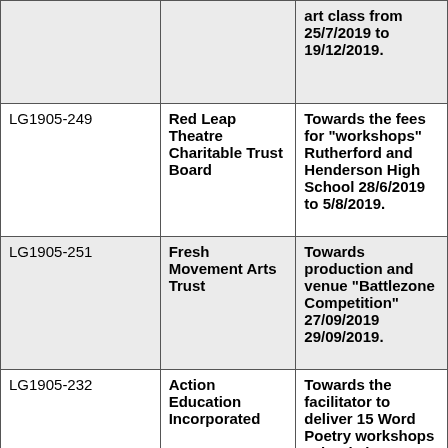| Reference | Organisation | Description |
| --- | --- | --- |
|  |  | art class from 25/7/2019 to 19/12/2019. |
| LG1905-249 | Red Leap Theatre Charitable Trust Board | Towards the fees for "workshops" Rutherford and Henderson High School 28/6/2019 to 5/8/2019. |
| LG1905-251 | Fresh Movement Arts Trust | Towards production and venue "Battlezone Competition" 27/09/2019 29/09/2019. |
| LG1905-232 | Action Education Incorporated | Towards the facilitator to deliver 15 Word Poetry workshops schools in Henderson Massey area between 1... |